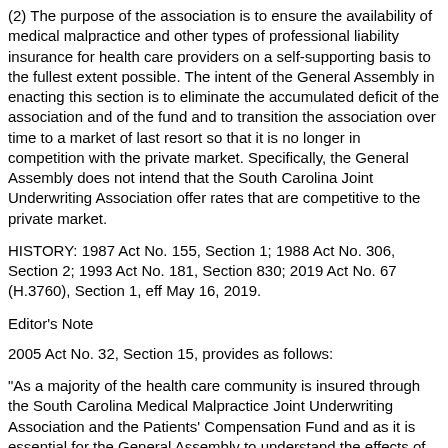(2) The purpose of the association is to ensure the availability of medical malpractice and other types of professional liability insurance for health care providers on a self-supporting basis to the fullest extent possible. The intent of the General Assembly in enacting this section is to eliminate the accumulated deficit of the association and of the fund and to transition the association over time to a market of last resort so that it is no longer in competition with the private market. Specifically, the General Assembly does not intend that the South Carolina Joint Underwriting Association offer rates that are competitive to the private market.
HISTORY: 1987 Act No. 155, Section 1; 1988 Act No. 306, Section 2; 1993 Act No. 181, Section 830; 2019 Act No. 67 (H.3760), Section 1, eff May 16, 2019.
Editor's Note
2005 Act No. 32, Section 15, provides as follows:
"As a majority of the health care community is insured through the South Carolina Medical Malpractice Joint Underwriting Association and the Patients' Compensation Fund and as it is essential for the General Assembly to understand the effects of changes to tort laws, the South Carolina Department of